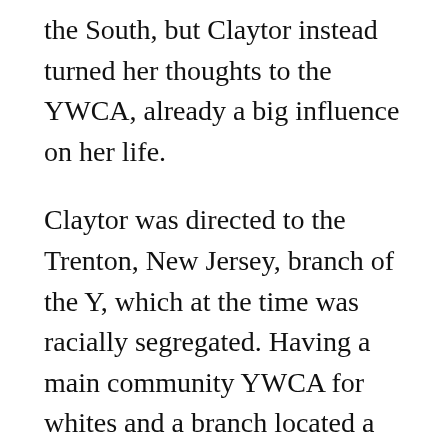the South, but Claytor instead turned her thoughts to the YWCA, already a big influence on her life.
Claytor was directed to the Trenton, New Jersey, branch of the Y, which at the time was racially segregated. Having a main community YWCA for whites and a branch located a few blocks away for blacks was not uncommon. As Claytor explained to Fuger in Grand River Valley History, "Back then they had a lot of black branches of the YWCA. There [was] only one YWCA in a community, and anything else [was] a branch." Two years later, having fulfilled